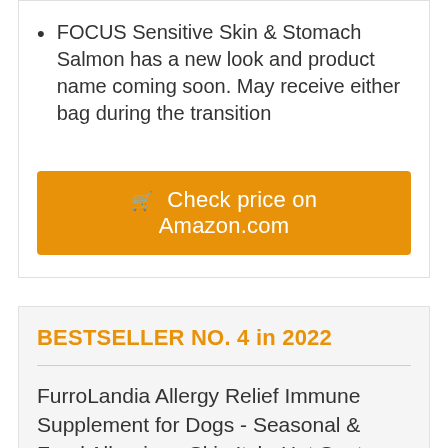FOCUS Sensitive Skin & Stomach Salmon has a new look and product name coming soon. May receive either bag during the transition
🛒 Check price on Amazon.com
BESTSELLER NO. 4 in 2022
FurroLandia Allergy Relief Immune Supplement for Dogs - Seasonal & Food Allergies - Skin Itch, Hot Spots and More - Supports Digestive & Skin Health -